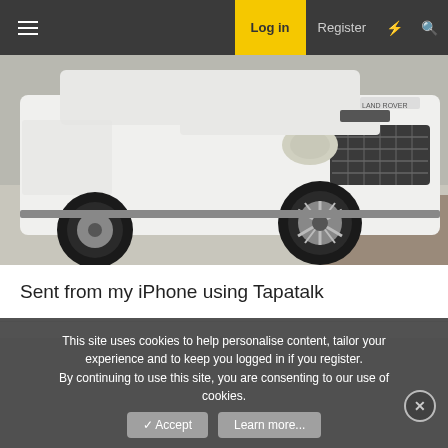Log in  Register
[Figure (photo): White Land Rover SUV photographed from the front-side angle, showing the wheel, headlight, and grille. The vehicle is parked on a concrete/gravel surface.]
Sent from my iPhone using Tapatalk
This site uses cookies to help personalise content, tailor your experience and to keep you logged in if you register.
By continuing to use this site, you are consenting to our use of cookies.
Accept  Learn more...